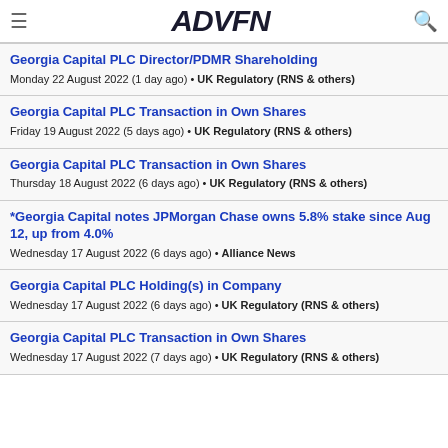ADVFN
Georgia Capital PLC Director/PDMR Shareholding
Monday 22 August 2022 (1 day ago) • UK Regulatory (RNS & others)
Georgia Capital PLC Transaction in Own Shares
Friday 19 August 2022 (5 days ago) • UK Regulatory (RNS & others)
Georgia Capital PLC Transaction in Own Shares
Thursday 18 August 2022 (6 days ago) • UK Regulatory (RNS & others)
*Georgia Capital notes JPMorgan Chase owns 5.8% stake since Aug 12, up from 4.0%
Wednesday 17 August 2022 (6 days ago) • Alliance News
Georgia Capital PLC Holding(s) in Company
Wednesday 17 August 2022 (6 days ago) • UK Regulatory (RNS & others)
Georgia Capital PLC Transaction in Own Shares
Wednesday 17 August 2022 (7 days ago) • UK Regulatory (RNS & others)